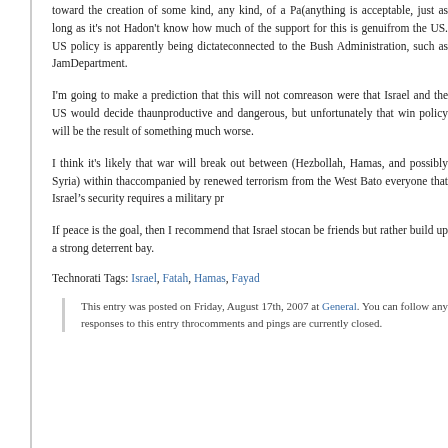toward the creation of some kind, any kind, of a Pa(anything is acceptable, just as long as it's not Ha don't know how much of the support for this is genui from the US. US policy is apparently being dictate connected to the Bush Administration, such as Jam Department.
I'm going to make a prediction that this will not com reason were that Israel and the US would decide tha unproductive and dangerous, but unfortunately that w in policy will be the result of something much worse.
I think it's likely that war will break out between (Hezbollah, Hamas, and possibly Syria) within th accompanied by renewed terrorism from the West Ba to everyone that Israel's security requires a military pr
If peace is the goal, then I recommend that Israel st can be friends but rather build up a strong deterrent bay.
Technorati Tags: Israel, Fatah, Hamas, Fayad
This entry was posted on Friday, August 17th, 2007 at General. You can follow any responses to this entry thro comments and pings are currently closed.